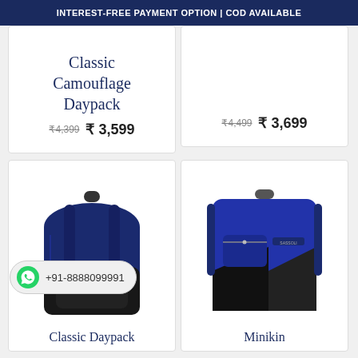INTEREST-FREE PAYMENT OPTION | COD AVAILABLE
₹4,499  ₹ 3,699
Classic Camouflage Daypack
₹4,399  ₹ 3,599
[Figure (photo): Blue and black two-tone backpack product photo]
Classic Daypack
[Figure (photo): Blue and black angular design backpack product photo (Minikin)]
Minikin
+91-8888099991